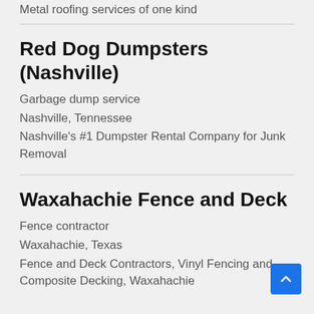Metal roofing services of one kind
Red Dog Dumpsters (Nashville)
Garbage dump service
Nashville, Tennessee
Nashville's #1 Dumpster Rental Company for Junk Removal
Waxahachie Fence and Deck
Fence contractor
Waxahachie, Texas
Fence and Deck Contractors, Vinyl Fencing and Composite Decking, Waxahachie